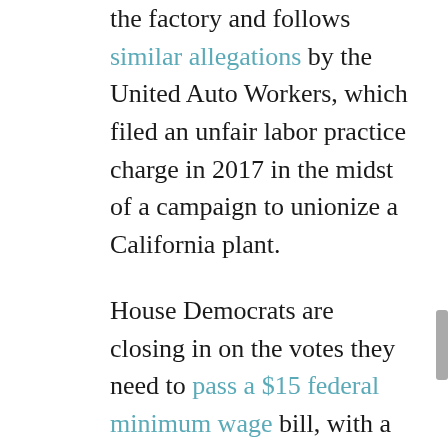the factory and follows similar allegations by the United Auto Workers, which filed an unfair labor practice charge in 2017 in the midst of a campaign to unionize a California plant.
House Democrats are closing in on the votes they need to pass a $15 federal minimum wage bill, with a vote expected after Congress returns from the 4th of July recess. Politico reported yesterday that House Majority Whip Jim Clyburn (D-S.C.) said in a closed door meeting that “roughly 213” Democrats are secured yes-votes on the bill — which would need 218 vote to pass the House. Over recent weeks, high-profile Democrats and sponsor